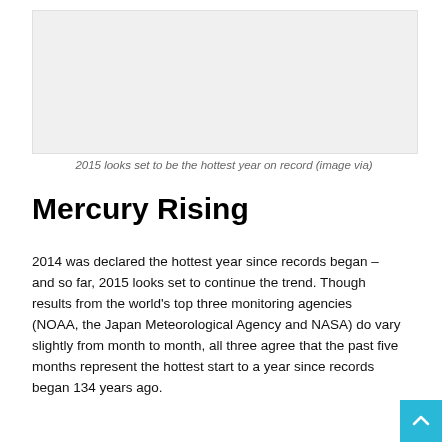[Figure (photo): Light grey placeholder image area representing a photo related to 2015 hottest year on record]
2015 looks set to be the hottest year on record (image via)
Mercury Rising
2014 was declared the hottest year since records began – and so far, 2015 looks set to continue the trend. Though results from the world's top three monitoring agencies (NOAA, the Japan Meteorological Agency and NASA) do vary slightly from month to month, all three agree that the past five months represent the hottest start to a year since records began 134 years ago.